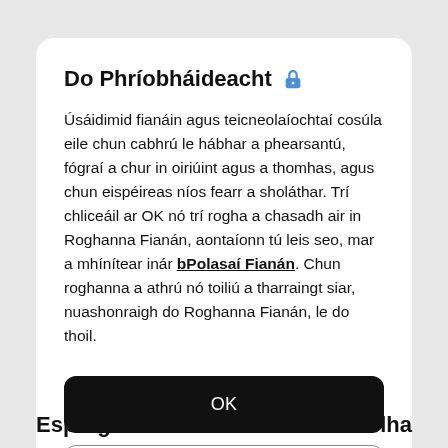Do Phríobháideacht 🔒
Úsáidimid fianáin agus teicneolaíochtaí cosúla eile chun cabhrú le hábhar a phearsantú, fógraí a chur in oiriúint agus a thomhas, agus chun eispéireas níos fearr a sholáthar. Trí chliceáil ar OK nó trí rogha a chasadh air in Roghanna Fianán, aontaíonn tú leis seo, mar a mhínítear inár bPolasaí Fianán. Chun roghanna a athrú nó toiliú a tharraingt siar, nuashonraigh do Roghanna Fianán, le do thoil.
OK
Roghanna Fianán
Espargos
Cidade Velha